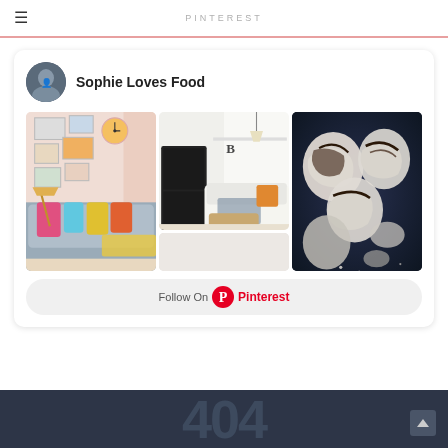PINTEREST
[Figure (screenshot): Pinterest profile widget for 'Sophie Loves Food' showing a profile avatar, three columns of pinned images (living room, minimal interior, chocolate meringues, and a dark food image), and a 'Follow On Pinterest' button]
404